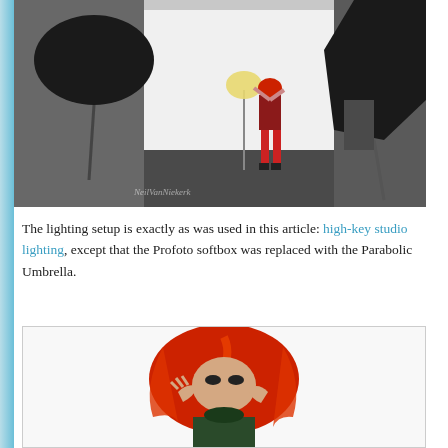[Figure (photo): Photography studio behind-the-scenes shot showing a model in red costume with red stockings posing against a white backdrop, surrounded by professional lighting equipment including a large octagonal softbox on the right and various studio lights on stands.]
The lighting setup is exactly as was used in this article: high-key studio lighting, except that the Profoto softbox was replaced with the Parabolic Umbrella.
[Figure (photo): Close-up portrait photo of a model with vivid red hair against a white background, wearing dark costume accessories.]